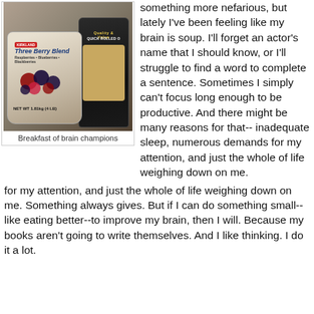[Figure (photo): Photo of a Kirkland Three Berry Blend frozen bag and a Quick Rolled Oats canister on a dark countertop]
Breakfast of brain champions
something more nefarious, but lately I've been feeling like my brain is soup. I'll forget an actor's name that I should know, or I'll struggle to find a word to complete a sentence. Sometimes I simply can't focus long enough to be productive. And there might be many reasons for that-- inadequate sleep, numerous demands for my attention, and just the whole of life weighing down on me. Something always gives. But if I can do something small--like eating better--to improve my brain, then I will. Because my books aren't going to write themselves. And I like thinking. I do it a lot.